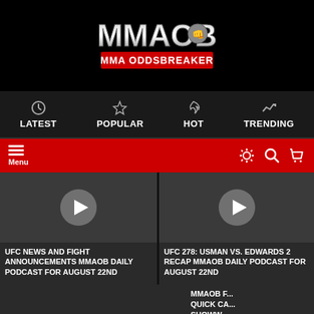[Figure (logo): MMA OddsBreaker logo with silver fist graphic and red/white text 'MMA ODDSBREAKER']
LATEST | POPULAR | HOT | TRENDING
Menu
[Figure (screenshot): Video thumbnail card for UFC News and Fight Announcements with play button]
UFC NEWS AND FIGHT ANNOUNCEMENTS MMAOB DAILY PODCAST FOR AUGUST 22ND
[Figure (screenshot): Video thumbnail card for UFC 278 Usman vs Edwards 2 Recap with play button]
UFC 278: USMAN VS. EDWARDS 2 RECAP MMAOB DAILY PODCAST FOR AUGUST 22ND
MMAOB F... QUICK CA... SHOWW...
SHARE THIS